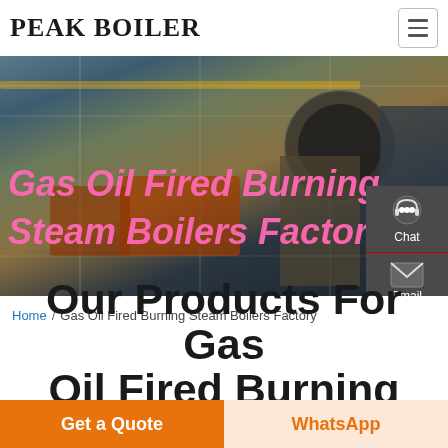PEAK BOILER
[Figure (photo): Industrial boiler factory interior with large pipes, equipment, and warehouse structure. Overlay text reads 'Gas Oil Fired Burning Steam Boilers Factory' in pink/magenta bold italic font.]
Home / Gas Oil Fired Burning Steam Boilers Factory
Our Products For Gas Oil Fired Burning Steam
Get a Quote
WhatsApp